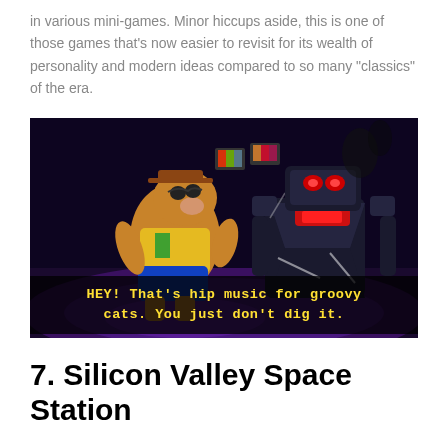in various mini-games. Minor hiccups aside, this is one of those games that's now easier to revisit for its wealth of personality and modern ideas compared to so many "classics" of the era.
[Figure (screenshot): A video game screenshot showing two 3D characters in a dark scene with text subtitles reading: HEY! That's hip music for groovy cats. You just don't dig it.]
7. Silicon Valley Space Station